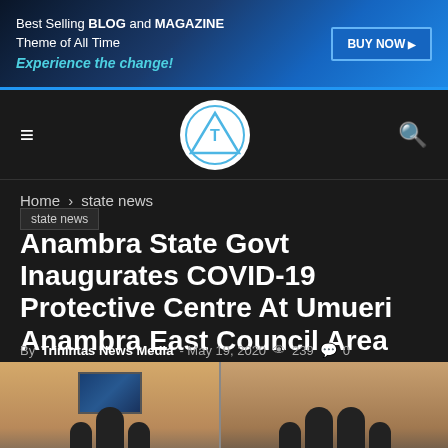[Figure (photo): Banner advertisement: Best Selling BLOG and MAGAZINE Theme of All Time, Experience the change! with a BUY NOW button]
Navigation bar with hamburger menu, Trinintas logo, and search icon
Home › state news
state news
Anambra State Govt Inaugurates COVID-19 Protective Centre At Umueri Anambra East Council Area
By Trinintas News Media - May 19, 2020  239  0
[Figure (photo): Photo of people in masks at the inauguration of the COVID-19 protective centre, indoor setting with a TV screen on the wall]